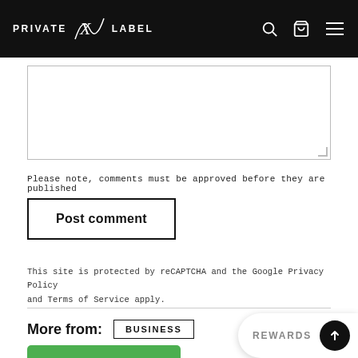PRIVATE X LABEL
[Figure (screenshot): Empty textarea input field with resize handle]
Please note, comments must be approved before they are published
Post comment
This site is protected by reCAPTCHA and the Google Privacy Policy and Terms of Service apply.
More from: BUSINESS
[Figure (screenshot): REWARDS widget with dark circular button and green bar at bottom]